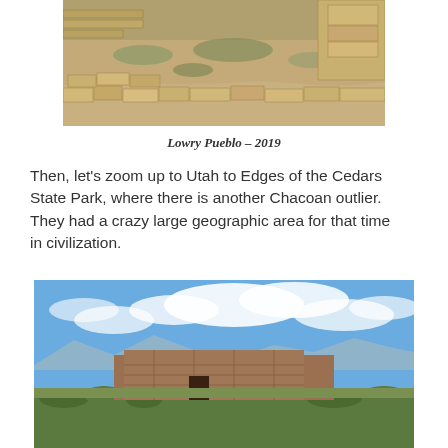[Figure (photo): Aerial/close-up view of Lowry Pueblo stone ruins with scrub vegetation, sandy soil, and sandstone block walls]
Lowry Pueblo – 2019
Then, let's zoom up to Utah to Edges of the Cedars State Park, where there is another Chacoan outlier.  They had a crazy large geographic area for that time in civilization.
[Figure (photo): Landscape photo of ancient pueblo ruins against a blue sky with white clouds, green scrub brush in foreground, mountains in background]